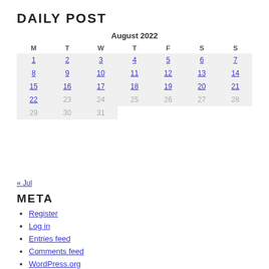DAILY POST
| M | T | W | T | F | S | S |
| --- | --- | --- | --- | --- | --- | --- |
| 1 | 2 | 3 | 4 | 5 | 6 | 7 |
| 8 | 9 | 10 | 11 | 12 | 13 | 14 |
| 15 | 16 | 17 | 18 | 19 | 20 | 21 |
| 22 | 23 | 24 | 25 | 26 | 27 | 28 |
| 29 | 30 | 31 |  |  |  |  |
« Jul
META
Register
Log in
Entries feed
Comments feed
WordPress.org